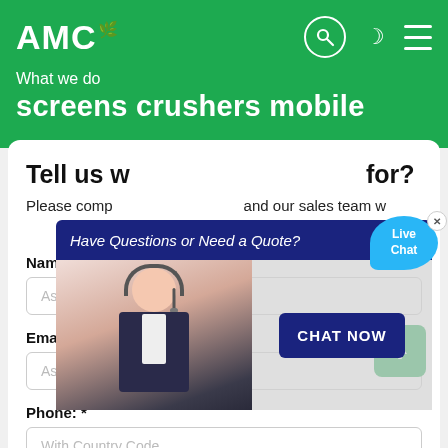AMC
What we do
screens crushers mobile
Tell us what you are looking for?
Please complete the form below and our sales team will contact you with our best prices.
Name: *
As: Tom
Email: *
As: vip@shanghaimeilan.com
[Figure (screenshot): Live chat popup overlay with banner 'Have Questions or Need a Quote?', a customer service representative photo, and a 'CHAT NOW' button. Also shows a 'Live Chat' speech bubble icon in the top right.]
Phone: *
With Country Code